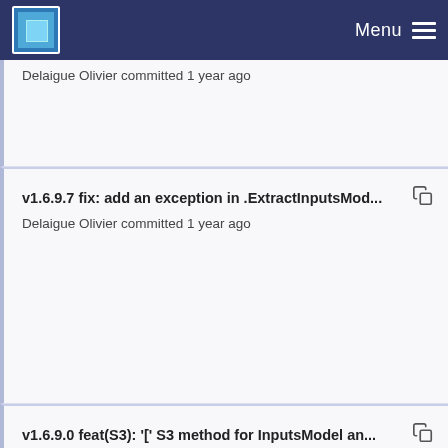Menu
Delaigue Olivier committed 1 year ago
v1.6.9.7 fix: add an exception in .ExtractInputsMod... Delaigue Olivier committed 1 year ago
v1.6.9.0 feat(S3): '[' S3 method for InputsModel an... Delaigue Olivier committed 1 year ago
v1.6.9.8 fix: add exceptions when .ExtractInputsM... Delaigue Olivier committed 1 year ago